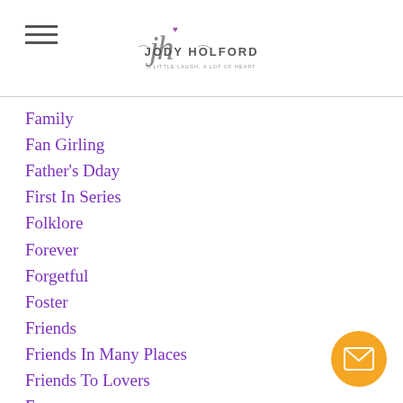Jody Holford - A little laugh, a lot of heart
Family
Fan Girling
Father's Dday
First In Series
Folklore
Forever
Forgetful
Foster
Friends
Friends In Many Places
Friends To Lovers
Fun
Giveaway
Giveaways
Giving Back
Goals
Goodbye 2018